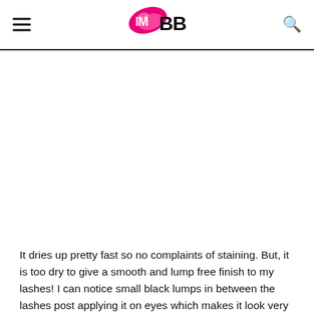IMBB
[Figure (other): Advertisement or image placeholder area below the navigation header]
It dries up pretty fast so no complaints of staining. But, it is too dry to give a smooth and lump free finish to my lashes! I can notice small black lumps in between the lashes post applying it on eyes which makes it look very unnatural and not-so-perfect. I don't think any girl would be fine with that lump of black